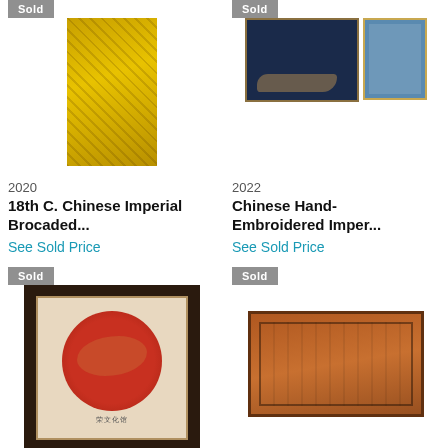[Figure (photo): Yellow Chinese imperial brocade textile with dark script patterns, shown as a vertical panel with 'Sold' badge]
[Figure (photo): Two framed Chinese hand-embroidered imperial pieces: a dark blue framed embroidery and a lighter blue framed textile, with 'Sold' badge]
2020
2022
18th C. Chinese Imperial Brocaded...
Chinese Hand-Embroidered Imper...
See Sold Price
See Sold Price
[Figure (photo): Framed red circular Chinese embroidery with phoenix or crane motif, dark brown outer frame, beige inner mat, with 'Sold' badge]
[Figure (photo): Orange-brown Chinese carpet or rug with dragon patterns and dark border, with 'Sold' badge]